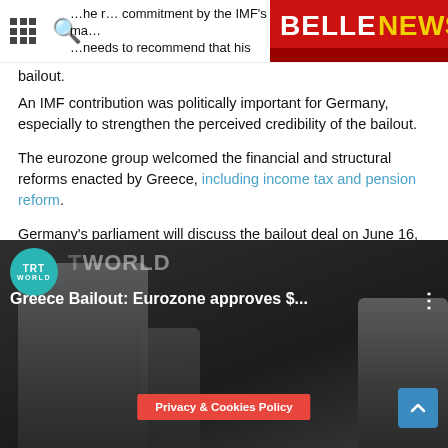BELLE NEWS – Read. Think. Learn.
…needs to recommend that his board c… bailout.
An IMF contribution was politically important for Germany, especially to strengthen the perceived credibility of the bailout.
The eurozone group welcomed the financial and structural reforms enacted by Greece, including income tax and pension reform.
Germany's parliament will discuss the bailout deal on June 16, finance minister Wolfgang Schaeuble said.
Greek finance minister Euclid Tsakalotos said the agreement would allow market access 'in due course'.
[Figure (screenshot): TRT World video thumbnail showing 'Greece Bailout: Eurozone approves $…' with a man in suit, Privacy & Cookies Policy banner, and scroll-to-top button]